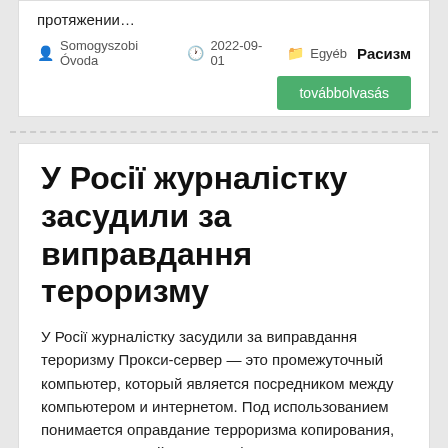протяжении…
Somogyszobi Óvoda  2022-09-01  Egyéb  Расизм
továbbolvasás
У Росії журналістку засудили за виправдання тероризму
У Росії журналістку засудили за виправдання тероризму Прокси-сервер — это промежуточный компьютер, который является посредником между компьютером и интернетом. Под использованием понимается оправдание терроризма копирования, адаптация, рерайтинг, модификация и тому